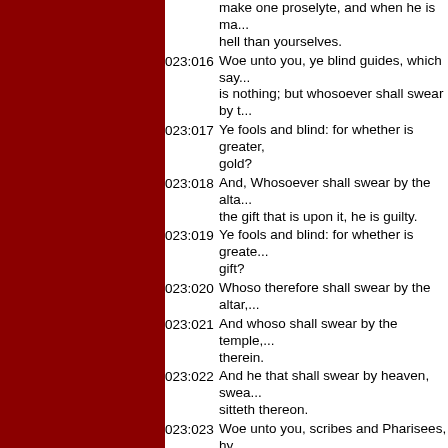make one proselyte, and when he is made, ye make him twofold more the child of hell than yourselves.
023:016 Woe unto you, ye blind guides, which say, Whosoever shall swear by the temple, it is nothing; but whosoever shall swear by the gold of the temple, he is a debtor!
023:017 Ye fools and blind: for whether is greater, the gold, or the temple that sanctifieth the gold?
023:018 And, Whosoever shall swear by the altar, it is nothing; but whosoever sweareth by the gift that is upon it, he is guilty.
023:019 Ye fools and blind: for whether is greater, the gift, or the altar that sanctifieth the gift?
023:020 Whoso therefore shall swear by the altar, sweareth by it, and by all things thereon.
023:021 And whoso shall swear by the temple, sweareth by it, and by him that dwelleth therein.
023:022 And he that shall swear by heaven, sweareth by the throne of God, and by him that sitteth thereon.
023:023 Woe unto you, scribes and Pharisees, hypocrites! for ye pay tithe of mint and anise and cummin, and have omitted the weightier matters of the law, judgment, mercy, and faith: these ought ye to have done, and not to leave the other undone.
023:024 Ye blind guides, which strain at a gnat, and swallow a camel.
023:025 Woe unto you, scribes and Pharisees, hypocrites! for ye make clean the outside of the cup and of the platter, but within they are full of extortion and excess.
023:026 Thou blind Pharisee, cleanse first that which is within the cup and platter, that the outside of them may be clean also.
023:027 Woe unto you, scribes and Pharisees, hypocrites! for ye are like unto whited sepulchres, which indeed appear beautiful outward, but are within full of dead men's bones, and of all uncleanness.
023:028 Even so ye also outwardly appear righteous unto men, but within ye are full of hypocrisy and iniquity.